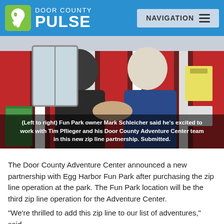DOOR COUNTY PULSE | NAVIGATION
[Figure (photo): Two men shaking hands in front of a red building. Left: Fun Park owner Mark Schleicher in dark fleece. Right: Tim Pflieger in blue jacket. Caption overlay reads: (Left to right) Fun Park owner Mark Schleicher said he's excited to work with Tim Pflieger and his Door County Adventure Center team in this new zip line partnership. Submitted.]
(Left to right) Fun Park owner Mark Schleicher said he's excited to work with Tim Pflieger and his Door County Adventure Center team in this new zip line partnership. Submitted.
The Door County Adventure Center announced a new partnership with Egg Harbor Fun Park after purchasing the zip line operation at the park. The Fun Park location will be the third zip line operation for the Adventure Center.
“We’re thrilled to add this zip line to our list of adventures,” said